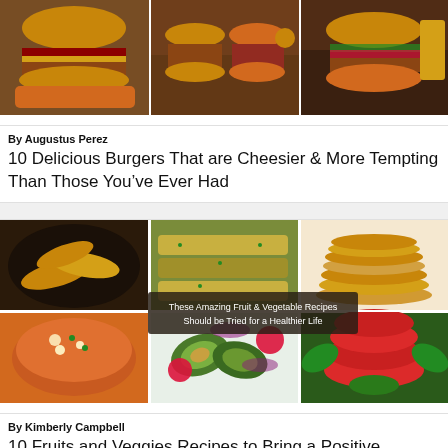[Figure (photo): Collage of three burger photos side by side]
By Augustus Perez
10 Delicious Burgers That are Cheesier & More Tempting Than Those You've Ever Had
[Figure (photo): Collage of six food photos (fried bananas, breaded zucchini, pancakes, soup, salad, tomato dish) with overlay text: These Amazing Fruit & Vegetable Recipes Should be Tried for a Healthier Life]
By Kimberly Campbell
10 Fruits and Veggies Recipes to Bring a Positive